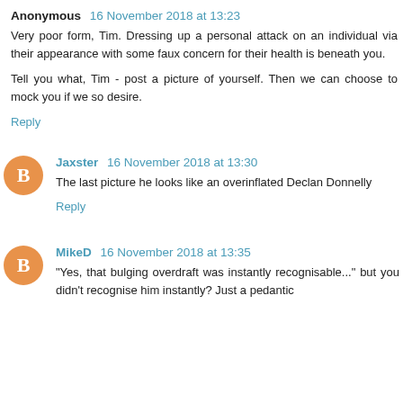Anonymous 16 November 2018 at 13:23
Very poor form, Tim. Dressing up a personal attack on an individual via their appearance with some faux concern for their health is beneath you.
Tell you what, Tim - post a picture of yourself. Then we can choose to mock you if we so desire.
Reply
Jaxster 16 November 2018 at 13:30
The last picture he looks like an overinflated Declan Donnelly
Reply
MikeD 16 November 2018 at 13:35
"Yes, that bulging overdraft was instantly recognisable..." but you didn't recognise him instantly? Just a pedantic